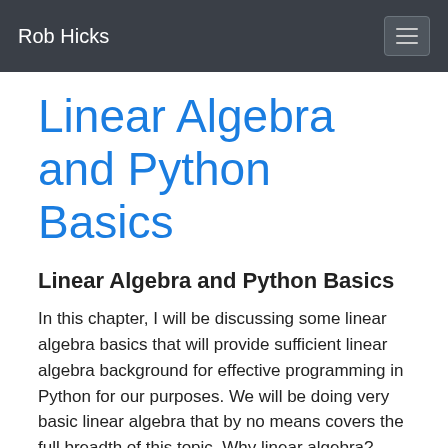Rob Hicks
Linear Algebra and Python Basics
Linear Algebra and Python Basics
In this chapter, I will be discussing some linear algebra basics that will provide sufficient linear algebra background for effective programming in Python for our purposes. We will be doing very basic linear algebra that by no means covers the full breadth of this topic. Why linear algebra? Linear algebra allows us to express relatively complex linear expressions in a very compact